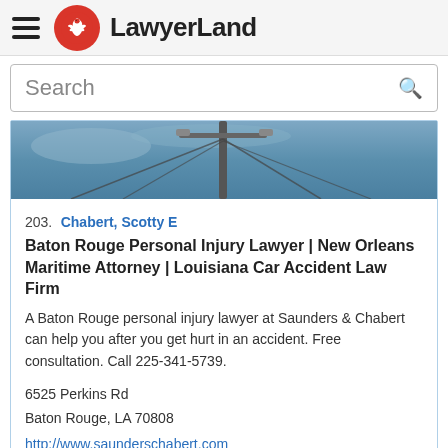LawyerLand
Search
[Figure (photo): Outdoor photo showing a utility/light pole against a blue sky with cables extending from it]
203. Chabert, Scotty E
Baton Rouge Personal Injury Lawyer | New Orleans Maritime Attorney | Louisiana Car Accident Law Firm
A Baton Rouge personal injury lawyer at Saunders & Chabert can help you after you get hurt in an accident. Free consultation. Call 225-341-5739.
6525 Perkins Rd
Baton Rouge, LA 70808
http://www.saunderschabert.com